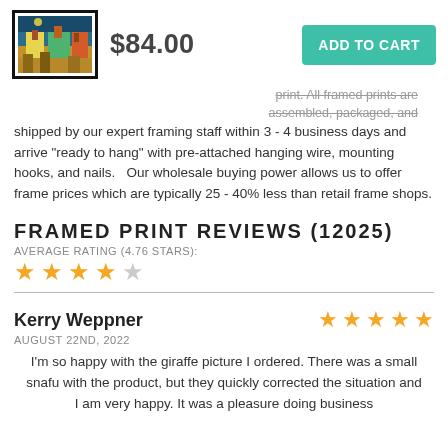[Figure (photo): Small framed art print thumbnail showing a colorful street scene painting]
$84.00
ADD TO CART
print. All framed prints are assembled, packaged, and shipped by our expert framing staff within 3 - 4 business days and arrive "ready to hang" with pre-attached hanging wire, mounting hooks, and nails.   Our wholesale buying power allows us to offer frame prices which are typically 25 - 40% less than retail frame shops.
FRAMED PRINT REVIEWS (12025)
AVERAGE RATING (4.76 STARS):
★★★★☆
Kerry Weppner
AUGUST 22ND, 2022
I'm so happy with the giraffe picture I ordered. There was a small snafu with the product, but they quickly corrected the situation and I am very happy. It was a pleasure doing business